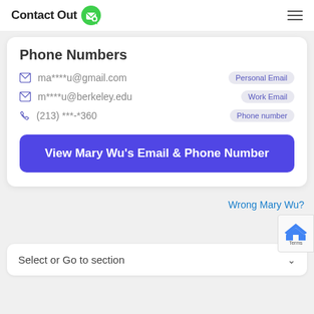ContactOut
Phone Numbers
ma****u@gmail.com  Personal Email
m****u@berkeley.edu  Work Email
(213) ***-*360  Phone number
View Mary Wu's Email & Phone Number
Wrong Mary Wu?
Select or Go to section